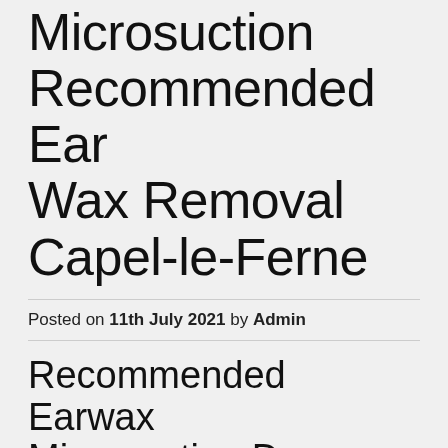Microsuction Recommended Ear Wax Removal Capel-le-Ferne
Posted on 11th July 2021 by Admin
Recommended Earwax Microsuction Dover
The resonances from the center ear are converted into nerve signals in the inner ear. The internal ear consists of the cochlea and the semicircular